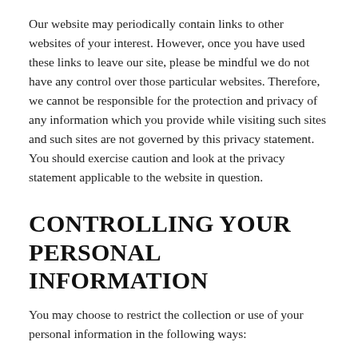Our website may periodically contain links to other websites of your interest. However, once you have used these links to leave our site, please be mindful we do not have any control over those particular websites. Therefore, we cannot be responsible for the protection and privacy of any information which you provide while visiting such sites and such sites are not governed by this privacy statement. You should exercise caution and look at the privacy statement applicable to the website in question.
CONTROLLING YOUR PERSONAL INFORMATION
You may choose to restrict the collection or use of your personal information in the following ways: